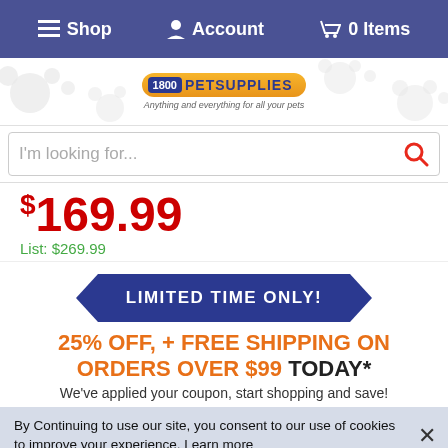Shop  Account  0 Items
[Figure (logo): 1800PetSupplies logo with tagline: Anything and everything for all your pets]
I'm looking for...
$169.99
List: $269.99
LIMITED TIME ONLY!
25% OFF, + FREE SHIPPING ON ORDERS OVER $99 TODAY*
We've applied your coupon, start shopping and save!
By Continuing to use our site, you consent to our use of cookies to improve your experience. Learn more
- 1 +  Add to Cart